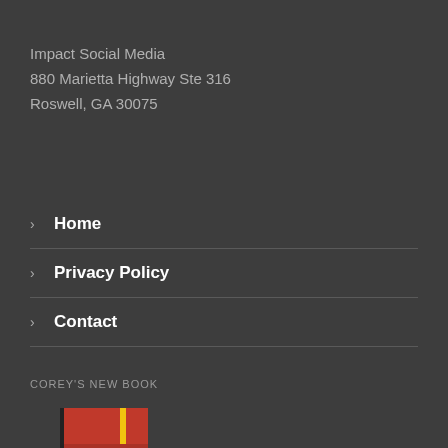Impact Social Media
880 Marietta Highway Ste 316
Roswell, GA 30075
Home
Privacy Policy
Contact
COREY'S NEW BOOK
[Figure (photo): Book cover for a social media book with red cover and the text SOCIAL MEDIA visible at the bottom]